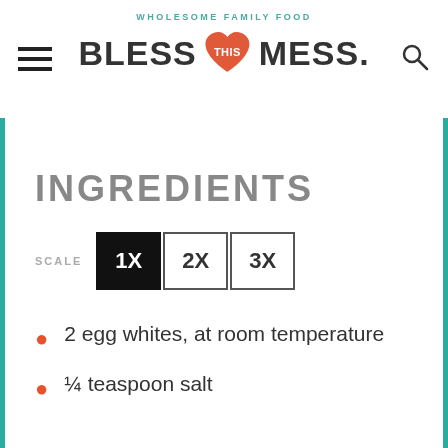WHOLESOME FAMILY FOOD | BLESS THIS MESS.
INGREDIENTS
SCALE 1X 2X 3X
2 egg whites, at room temperature
¼ teaspoon salt